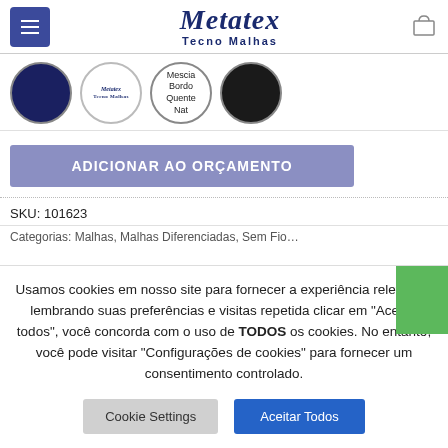Metatex Tecno Malhas
[Figure (photo): Four circular color swatches: navy blue fabric, white with Metatex logo, text circle reading 'Mescia Bordo Quente Nat', black fabric]
ADICIONAR AO ORÇAMENTO
SKU: 101623
Categorias: Malhas, Malhas Diferenciadas, Sem Fio...
Usamos cookies em nosso site para fornecer a experiência relevante, lembrando suas preferências e visitas repetidas. clicar em "Aceitar todos", você concorda com o uso de TODOS os cookies. No entanto, você pode visitar "Configurações de cookies" para fornecer um consentimento controlado.